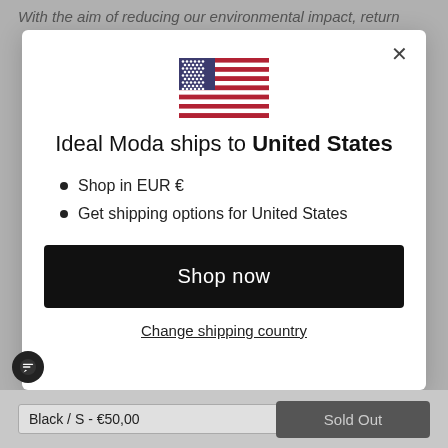With the aim of reducing our environmental impact, return
[Figure (screenshot): Modal dialog showing US flag, shipping info for United States, Shop now button, and Change shipping country link]
Ideal Moda ships to United States
Shop in EUR €
Get shipping options for United States
Shop now
Change shipping country
Black / S - €50,00
Sold Out